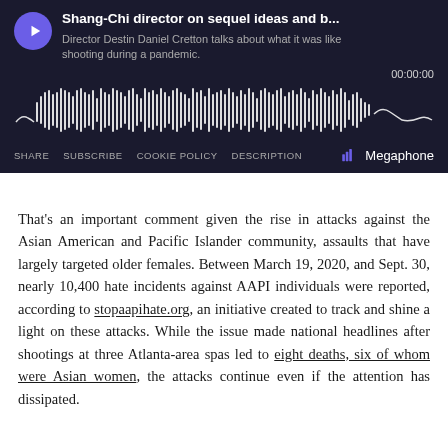[Figure (screenshot): Podcast player widget with dark background showing title 'Shang-Chi director on sequel ideas and b...', subtitle 'Director Destin Daniel Cretton talks about what it was like shooting during a pandemic.', timestamp 00:00:00, audio waveform visualization, and controls: SHARE, SUBSCRIBE, COOKIE POLICY, DESCRIPTION, and Megaphone logo.]
That's an important comment given the rise in attacks against the Asian American and Pacific Islander community, assaults that have largely targeted older females. Between March 19, 2020, and Sept. 30, nearly 10,400 hate incidents against AAPI individuals were reported, according to stopaapihate.org, an initiative created to track and shine a light on these attacks. While the issue made national headlines after shootings at three Atlanta-area spas led to eight deaths, six of whom were Asian women, the attacks continue even if the attention has dissipated.